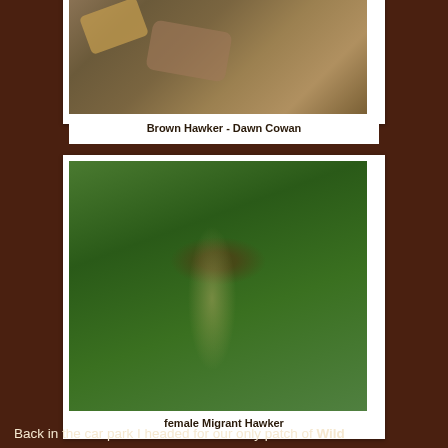[Figure (photo): Photo of a Brown Hawker dragonfly camouflaged among brown dried leaves and green foliage]
Brown Hawker - Dawn Cowan
[Figure (photo): Photo of a female Migrant Hawker dragonfly perched on a twig, with green foliage in the background]
female Migrant Hawker
Back in the car park I headed for our only patch of Wild